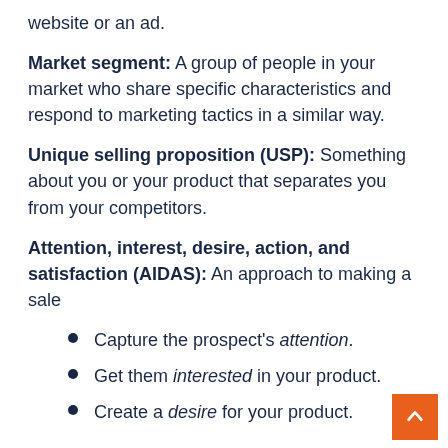website or an ad.
Market segment: A group of people in your market who share specific characteristics and respond to marketing tactics in a similar way.
Unique selling proposition (USP): Something about you or your product that separates you from your competitors.
Attention, interest, desire, action, and satisfaction (AIDAS): An approach to making a sale
Capture the prospect's attention.
Get them interested in your product.
Create a desire for your product.